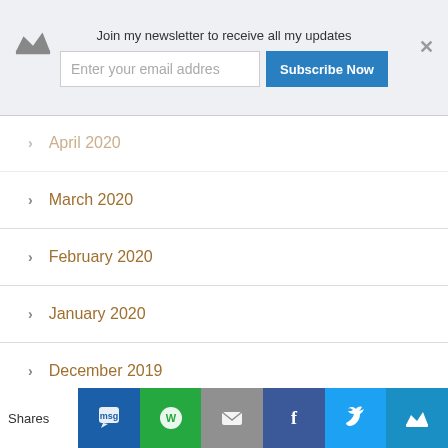Join my newsletter to receive all my updates | Enter your email addres | Subscribe Now
April 2020
March 2020
February 2020
January 2020
December 2019
November 2019
October 2019
September 2019
July 2019
June 2019
January 2019
Shares